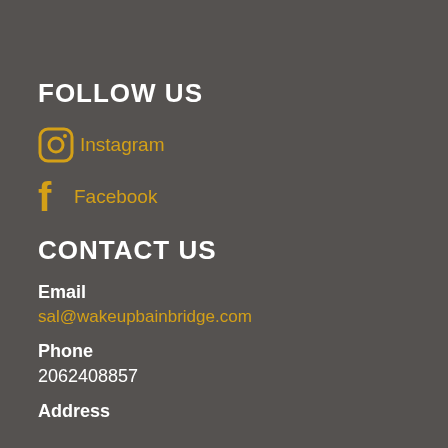FOLLOW US
Instagram
Facebook
CONTACT US
Email
sal@wakeupbainbridge.com
Phone
2062408857
Address